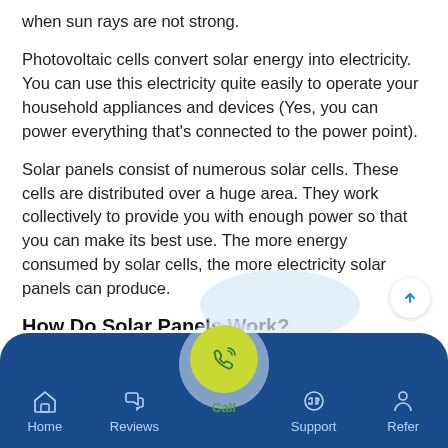when sun rays are not strong.
Photovoltaic cells convert solar energy into electricity. You can use this electricity quite easily to operate your household appliances and devices (Yes, you can power everything that's connected to the power point).
Solar panels consist of numerous solar cells. These cells are distributed over a huge area. They work collectively to provide you with enough power so that you can make its best use. The more energy consumed by solar cells, the more electricity solar panels can produce.
How Do Solar Panels Work?
[Figure (other): Mobile app bottom navigation bar with Home, Reviews, Call (highlighted in yellow-green), Support, and Refer icons on a dark blue background.]